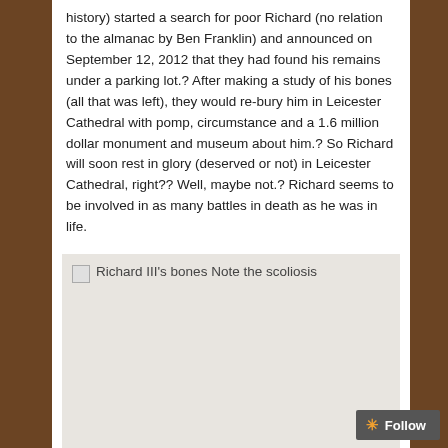history) started a search for poor Richard (no relation to the almanac by Ben Franklin) and announced on September 12, 2012 that they had found his remains under a parking lot.? After making a study of his bones (all that was left), they would re-bury him in Leicester Cathedral with pomp, circumstance and a 1.6 million dollar monument and museum about him.? So Richard will soon rest in glory (deserved or not) in Leicester Cathedral, right?? Well, maybe not.? Richard seems to be involved in as many battles in death as he was in life.
[Figure (photo): Image placeholder showing Richard III's bones with note about scoliosis. The image box has a light gray background with broken image icon and alt text visible.]